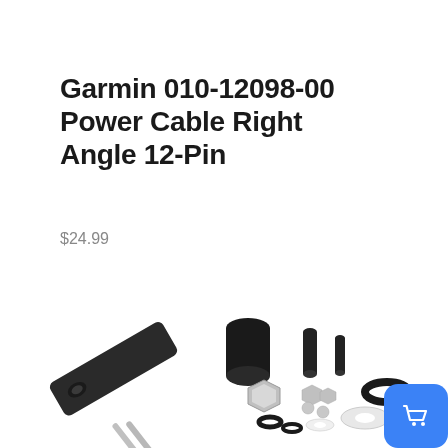Garmin 010-12098-00 Power Cable Right Angle 12-Pin
$24.99
[Figure (photo): Product photo showing hardware kit components: a flat bracket with hole, metal rods/pins, black cylindrical spacers, hex nuts, small screws, washers, rubber O-ring, and other small fasteners arranged on a white background.]